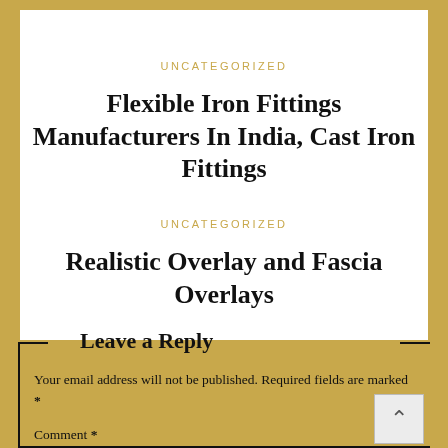UNCATEGORIZED
Flexible Iron Fittings Manufacturers In India, Cast Iron Fittings
UNCATEGORIZED
Realistic Overlay and Fascia Overlays
Leave a Reply
Your email address will not be published. Required fields are marked *
Comment *